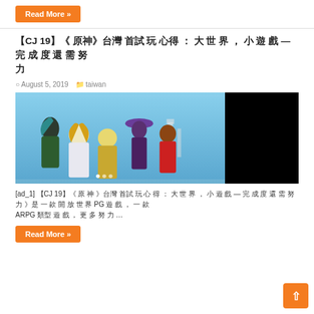Read More »
【CJ 19】《 原神》台灣  首試 玩 心得 ： 大 世 界 ， 小 遊 戲 — 完 成 度 還 需 努 力
August 5, 2019  taiwan
[Figure (photo): Anime characters from Genshin Impact game, shown with PS4 and miHoYo branding on blue sky background. Left portion shows anime characters, right portion is black.]
[ad_1] 【CJ 19】《 原 神 》台灣 首試 玩 心 得 ： 大 世 界 ， 小 遊 戲 — 完 成 度 還 需 努 力 》是 一 款 開 放 世 界 PG 遊 戲 ， 一 款 ARPG 類型 遊 戲 ， 更 多 努 力 …
Read More »